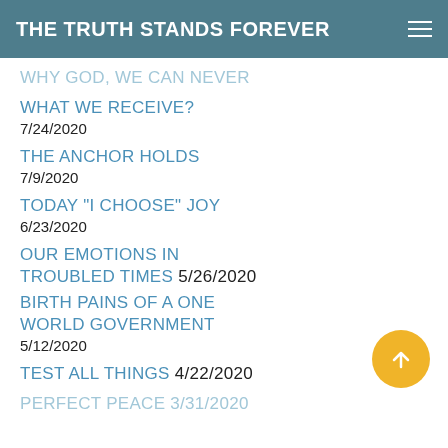THE TRUTH STANDS FOREVER
WHY GOD, WE CAN NEVER
WHAT WE RECEIVE?
7/24/2020
THE ANCHOR HOLDS
7/9/2020
TODAY "I CHOOSE" JOY
6/23/2020
OUR EMOTIONS IN TROUBLED TIMES 5/26/2020
BIRTH PAINS OF A ONE WORLD GOVERNMENT
5/12/2020
TEST ALL THINGS 4/22/2020
PERFECT PEACE 3/31/2020